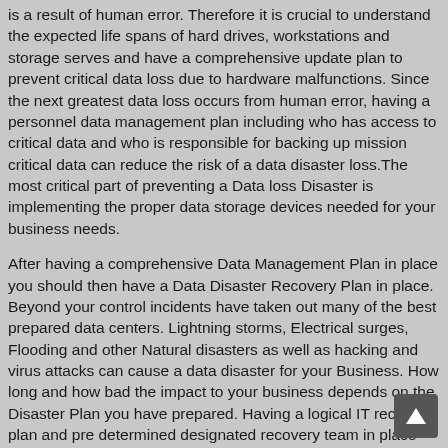is a result of human error. Therefore it is crucial to understand the expected life spans of hard drives, workstations and storage serves and have a comprehensive update plan to prevent critical data loss due to hardware malfunctions. Since the next greatest data loss occurs from human error, having a personnel data management plan including who has access to critical data and who is responsible for backing up mission critical data can reduce the risk of a data disaster loss.The most critical part of preventing a Data loss Disaster is implementing the proper data storage devices needed for your business needs.
After having a comprehensive Data Management Plan in place you should then have a Data Disaster Recovery Plan in place. Beyond your control incidents have taken out many of the best prepared data centers. Lightning storms, Electrical surges, Flooding and other Natural disasters as well as hacking and virus attacks can cause a data disaster for your Business. How long and how bad the impact to your business depends on the Disaster Plan you have prepared. Having a logical IT recovery plan and pre determined designated recovery team in place will lessen the impact to your business.
Your data storage devices may include off site Cloud Storage, NAS (Network Attached Storage) data Storage, External or Internal HDD data storage or Sever Storage utilizing Raid Array Volumes. The best prevention of a data loss disaster is to have current multiple backups of your data. In the event that you do have a mechanical or software failure of one of your storage devices, DO NOT attempt any type of recovery, repair or Raid rebuild without a